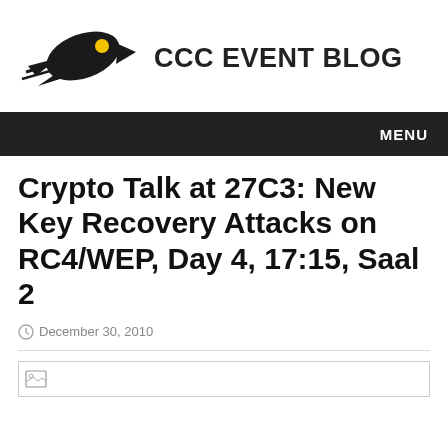[Figure (logo): CCC Event Blog logo: stylized black rocket or bird shape with yellow/gold accent, facing left]
CCC EVENT BLOG
MENU
Crypto Talk at 27C3: New Key Recovery Attacks on RC4/WEP, Day 4, 17:15, Saal 2
December 30, 2010
[Figure (photo): Broken/missing image placeholder icon]